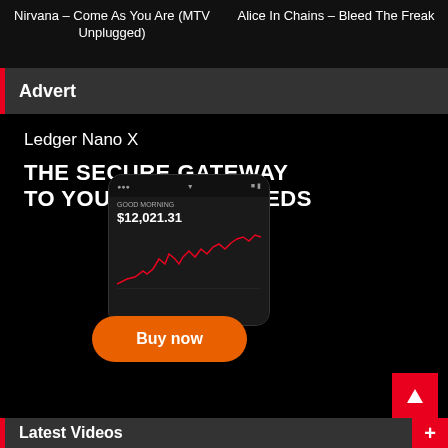Nirvana – Come As You Are (MTV Unplugged)
Alice In Chains – Bleed The Freak
Advert
[Figure (infographic): Ledger Nano X advertisement. Text: 'Ledger Nano X', 'THE SECURE GATEWAY TO YOUR CRYPTO NEEDS', phone mockup showing $12,021.31 with a chart line graph, and an orange 'Buy now' button.]
Latest Videos